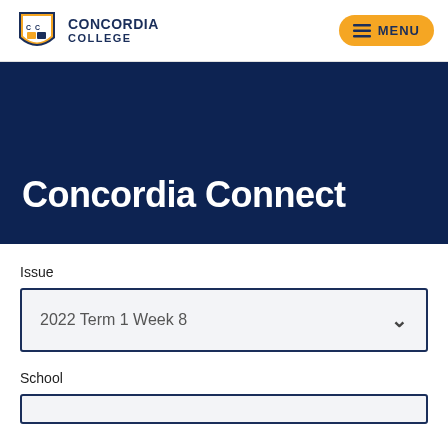[Figure (logo): Concordia College logo with shield emblem and text CONCORDIA COLLEGE]
MENU
Concordia Connect
Issue
2022 Term 1 Week 8
School